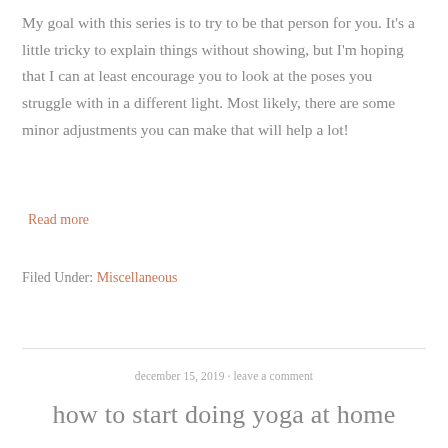My goal with this series is to try to be that person for you. It's a little tricky to explain things without showing, but I'm hoping that I can at least encourage you to look at the poses you struggle with in a different light. Most likely, there are some minor adjustments you can make that will help a lot!
Read more
Filed Under: Miscellaneous
december 15, 2019 · leave a comment
how to start doing yoga at home